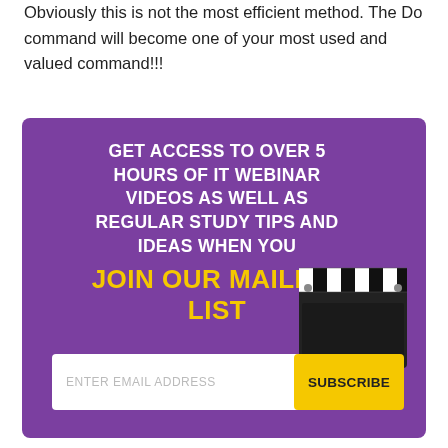Obviously this is not the most efficient method. The Do command will become one of your most used and valued command!!!
[Figure (infographic): Purple promotional banner with text 'GET ACCESS TO OVER 5 HOURS OF IT WEBINAR VIDEOS AS WELL AS REGULAR STUDY TIPS AND IDEAS WHEN YOU JOIN OUR MAILING LIST', an email input field, a yellow SUBSCRIBE button, and a clapperboard graphic.]